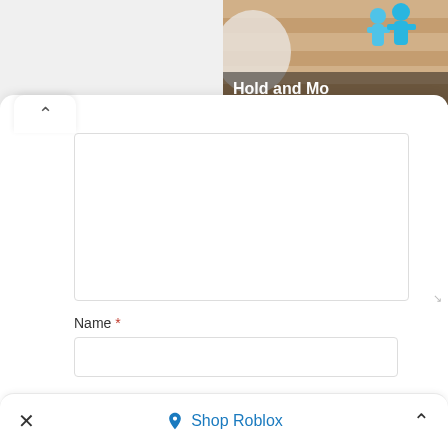[Figure (screenshot): Partial game thumbnail showing 'Hold and Mo...' text with blue figures and sandy/striped background]
Name *
Email *
Website
Shop Roblox